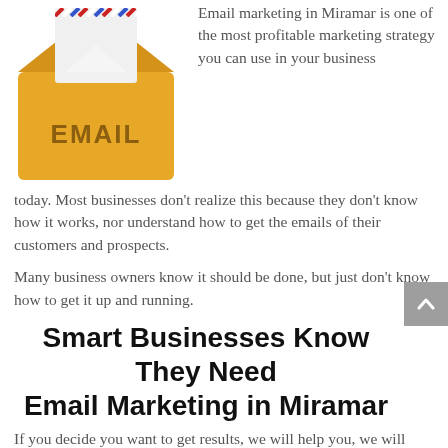[Figure (illustration): Cartoon email envelope icon — open yellow/orange envelope with a white letter inside and red/blue striped border at top, with bold brown text EMAIL on the envelope body.]
Email marketing in Miramar is one of the most profitable marketing strategy you can use in your business today. Most businesses don't realize this because they don't know how it works, nor understand how to get the emails of their customers and prospects.
Many business owners know it should be done, but just don't know how to get it up and running.
Smart Businesses Know They Need
Email Marketing in Miramar
If you decide you want to get results, we will help you, we will find your right customers. Setup your email funnels, if you have multiple services or